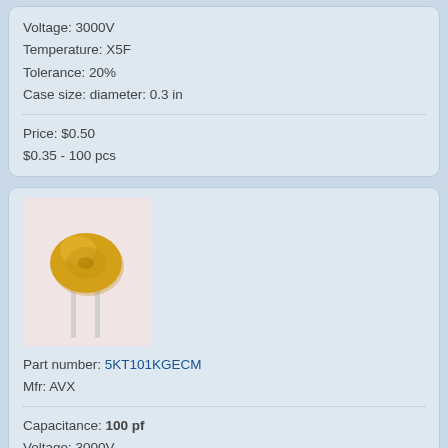Voltage: 3000V
Temperature: X5F
Tolerance: 20%
Case size: diameter: 0.3 in
Price: $0.50
$0.35 - 100 pcs
[Figure (photo): Photo of a yellow disc ceramic capacitor with two silver leads on a light pink background]
Part number: 5KT101KGECM
Mfr: AVX
Capacitance: 100 pf
Voltage: 3000V
Temperature: SL
Tolerance: 10%
Case size: diameter: 0.31 in, length: 0.33 in
Price: $0.50
$0.40 - 100 pcs